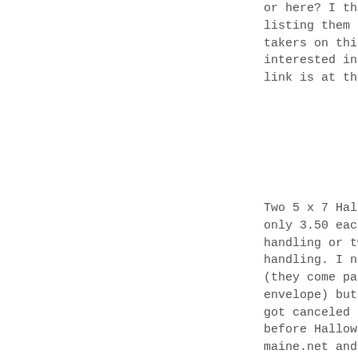or here? I thou listing them her takers on this t interested in bu link is at the t
Two 5 x 7 Hallow only 3.50 each.. handling or two handling. I norm (they come packa envelope) but si got canceled out before Halloween maine.net and te here and I'll em don't have a vel clear bag and se
I accept PayPal If you order too